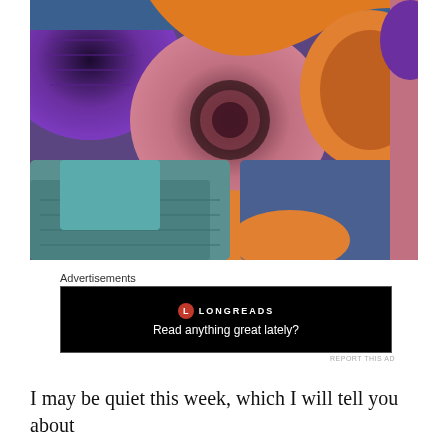[Figure (photo): Close-up photograph of colorful crocheted granny squares in purple, orange, pink, teal, and blue yarn arranged together]
Advertisements
[Figure (screenshot): Advertisement banner for Longreads with black background showing the Longreads logo and tagline 'Read anything great lately?']
REPORT THIS AD
I may be quiet this week, which I will tell you about